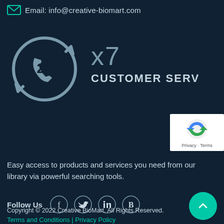Email: info@creative-biomart.com
[Figure (illustration): 24x7 customer service icon showing a telephone handset inside a circular clock/refresh arrow, with the number 24 in the center. Next to it is the text 'x7' in large light font and 'CUSTOMER SERV' (partially visible) below in bold caps.]
[Figure (other): reCAPTCHA widget showing the Google reCAPTCHA logo with Privacy · Terms links below]
Easy access to products and services you need from our library via powerful searching tools.
Follow Us
[Figure (logo): Social media icons in circular outlines: Facebook, Twitter, LinkedIn, and B (Blog/Blogger)]
Copyright © 2022 Creative BioMart. All Rights Reserved. Terms and Conditions | Privacy Policy